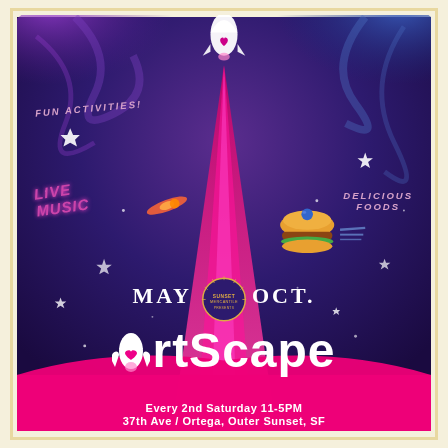[Figure (illustration): ArtScape event poster with space/rocket theme. Purple and dark blue cosmic background with a rocket launching from center leaving a pink/magenta trail, stars scattered throughout. Features text: FUN ACTIVITIES!, LIVE MUSIC, DELICIOUS FOODS, MAY / OCT., ArtScape logo with rocket, Every 2nd Saturday 11-5PM, 37th Ave / Ortega, Outer Sunset, SF. Sunset Mercantile Presents logo in center. Cream/beige border frame.]
ArtScape
FUN ACTIVITIES!
LIVE MUSIC
DELICIOUS FOODS
MAY  OCT.
Every 2nd Saturday 11-5PM
37th Ave / Ortega, Outer Sunset, SF